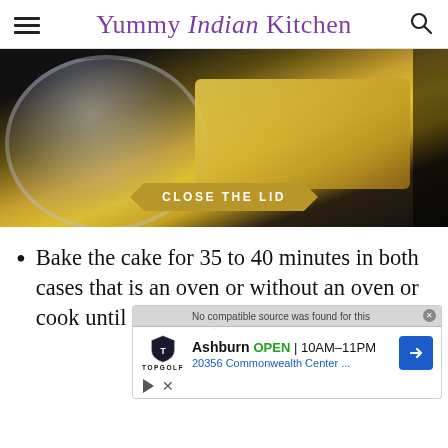Yummy Indian Kitchen
[Figure (photo): A pan with butter/ghee on a dark stove, with a glass lid nearby. A banner label reads 'CLOSE THE LID'.]
Bake the cake for 35 to 40 minutes in both cases that is an oven or without an oven or cook until the toothpick comes out
[Figure (screenshot): Ad overlay showing Topgolf Ashburn, OPEN 10AM-11PM, 20356 Commonwealth Center... with navigation arrow icon. Also shows 'No compatible source was found for this' video notice and playback controls.]